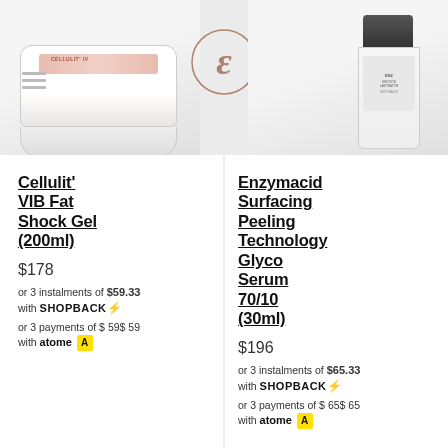[Figure (photo): Top portion showing two product images: left is Cellulit' VIB Fat Shock Gel container (white/cream jar), center is a decorative cursive E logo in a circle, right is Enzymacid serum bottle (dark cap, white bottle with label).]
Cellulit' VIB Fat Shock Gel (200ml)
$178
or 3 instalments of $59.33 with SHOPBACK⚡
or 3 payments of $ 59$ 59 with atome A
Enzymacid Surfacing Peeling Technology Glyco Serum 70/10 (30ml)
$196
or 3 instalments of $65.33 with SHOPBACK⚡
or 3 payments of $ 65$ 65 with atome A